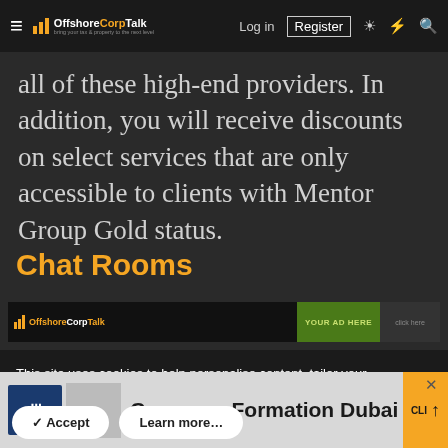OffshoreCorpTalk — Log in | Register
all of these high-end providers. In addition, you will receive discounts on select services that are only accessible to clients with Mentor Group Gold status.
Chat Rooms
[Figure (screenshot): OffshoreCorpTalk ad banner with logo and 'YOUR AD HERE' text]
This site uses cookies to help personalise content, tailor your experience and to keep you logged in if you register.
By continuing to use this site, you are consenting to our use of cookies.
Accept  Learn more...
[Figure (screenshot): Bottom advertisement banner: DLS Dubai — Company Formation Dubai]